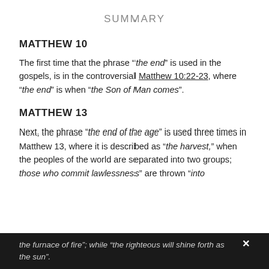SUMMARY
MATTHEW 10
The first time that the phrase “the end” is used in the gospels, is in the controversial Matthew 10:22-23, where “the end” is when “the Son of Man comes”.
MATTHEW 13
Next, the phrase “the end of the age” is used three times in Matthew 13, where it is described as “the harvest,” when the peoples of the world are separated into two groups; those who commit lawlessness” are thrown “into the furnace of fire”; while “the righteous will shine forth as the sun”.